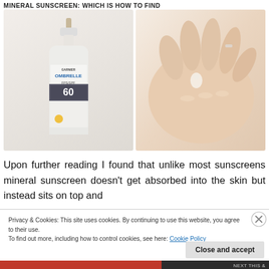MINERAL SUNSCREEN: WHICH IS HOW TO FIND
[Figure (photo): Two side-by-side photos: left shows a white Garnier Ombrelle SPF 60 sunscreen bottle with pump dispenser; right shows a close-up of a hand (back view) with a small drop of sunscreen on it]
Upon further reading I found that unlike most sunscreens mineral sunscreen doesn't get absorbed into the skin but instead sits on top and
Privacy & Cookies: This site uses cookies. By continuing to use this website, you agree to their use.
To find out more, including how to control cookies, see here: Cookie Policy